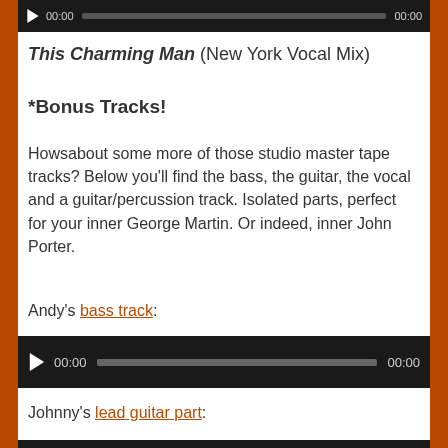[Figure (other): Audio player bar at top showing play button, 00:00 timestamp, progress bar, and 00:00 end time on dark background]
This Charming Man (New York Vocal Mix)
*Bonus Tracks!
Howsabout some more of those studio master tape tracks? Below you'll find the bass, the guitar, the vocal and a guitar/percussion track. Isolated parts, perfect for your inner George Martin. Or indeed, inner John Porter.
Andy's bass track:
[Figure (other): Audio player showing play button, 00:00 timestamp, progress bar, and 00:00 end time on dark background]
Johnny's lead guitar part:
[Figure (other): Audio player bar at bottom, partially visible]